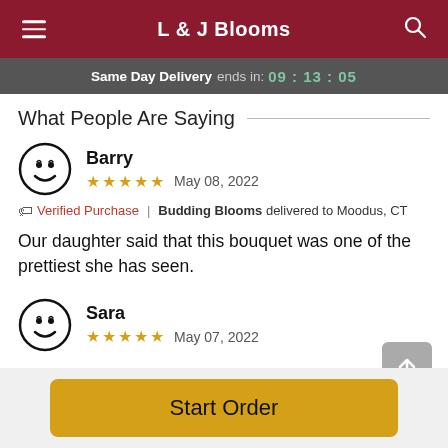L & J Blooms
Same Day Delivery ends in: 09:13:05
What People Are Saying
Barry ★★★★★ May 08, 2022
🏷 Verified Purchase | Budding Blooms delivered to Moodus, CT
Our daughter said that this bouquet was one of the prettiest she has seen.
Sara ★★★★★ May 07, 2022
Start Order